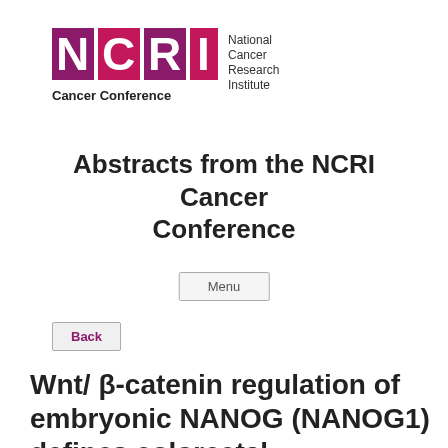[Figure (logo): NCRI National Cancer Research Institute logo with purple block letters NCRI and text to the right, with 'Cancer Conference' below]
Abstracts from the NCRI Cancer Conference
Menu
Back
Wnt/ β-catenin regulation of embryonic NANOG (NANOG1) defines colorectal